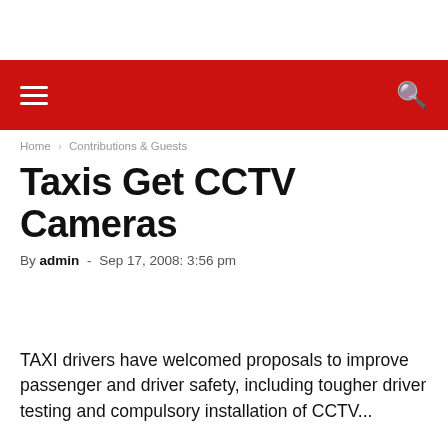Taxis Get CCTV Cameras
By admin - Sep 17, 2008: 3:56 pm
TAXI drivers have welcomed proposals to improve passenger and driver safety, including tougher driver testing and compulsory installation of CCTV...